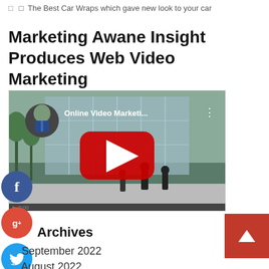The Best Car Wraps which gave new look to your car
Marketing Awane Insight Produces Web Video Marketing
[Figure (screenshot): YouTube video thumbnail showing 'Online Video Marketi...' with a play button, a man in a suit as channel icon, and people walking in front of a glass building]
Archives
September 2022
August 2022